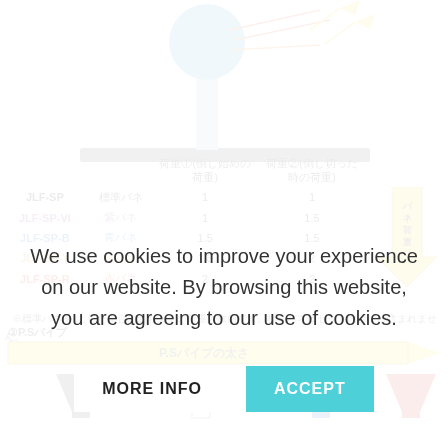[Figure (engineering-diagram): Top portion of a joystick/spring mechanism diagram showing a blue ball-top, gray shaft, and colored spring load lines with yellow arrows]
|  |  | 荷重①(倒し始めの荷重) | 荷重②(倒し切った時の荷重) |  |
| --- | --- | --- | --- | --- |
| JLF-SP | 標準バネ | 1 | 1 |  |
| JLF-SP-VI | 紫バネ | 1 | 1.5 |  |
| JLF-SP-B | 青バネ | 1.5 | 1.5 |  |
| JLF-SP-Y | 黄バネ | 1.3 | 2 |  |
| JLF-SP-R | 赤バネ | 2 | 2 |  |
※標準バネを1とした場合のおおよその荷重の数値です。標準バネはセット内容には含まれません。
[Figure (engineering-diagram): P.S pipe section showing yellow arrow labeled 'P.Sパイプの太さ' with four funnel/pipe shapes below in black, white, blue, and red colors]
We use cookies to improve your experience on our website. By browsing this website, you are agreeing to our use of cookies.
MORE INFO   ACCEPT